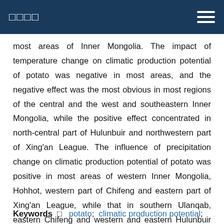□□□□
most areas of Inner Mongolia. The impact of temperature change on climatic production potential of potato was negative in most areas, and the negative effect was the most obvious in most regions of the central and the west and southeastern Inner Mongolia, while the positive effect concentrated in north-central part of Hulunbuir and northwestern part of Xing'an League. The influence of precipitation change on climatic production potential of potato was positive in most areas of western Inner Mongolia, Hohhot, western part of Chifeng and eastern part of Xing'an League, while that in southern Ulanqab, eastern Chifeng and western and eastern Hulunbuir was negative.
Keywords □ potato; climatic production potential;